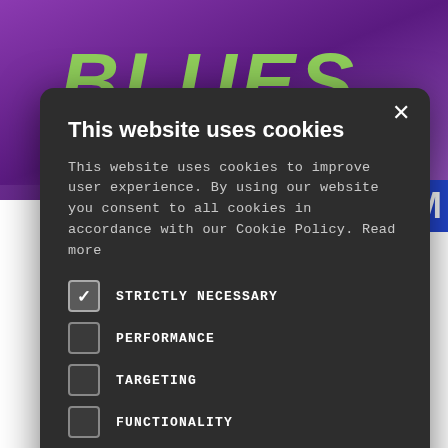[Figure (screenshot): Purple banner background with 'BLUES' text in green and '.COM' text in white on blue background, with white content area below showing partial article text]
This website uses cookies
This website uses cookies to improve user experience. By using our website you consent to all cookies in accordance with our Cookie Policy. Read more
STRICTLY NECESSARY (checked)
PERFORMANCE
TARGETING
FUNCTIONALITY
UNCLASSIFIED
ACCEPT ALL | DECLINE ALL
SHOW DETAILS